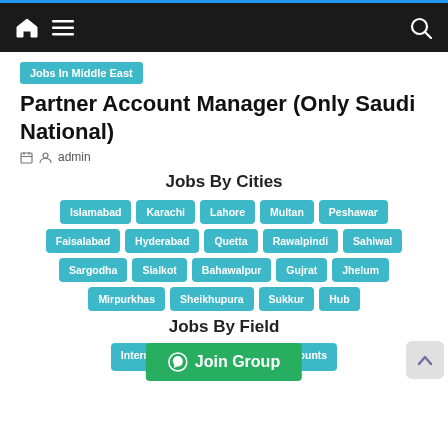Navigation bar with home, menu, and search icons
Jobs In Middle East
Partner Account Manager (Only Saudi National)
admin
Jobs By Cities
Islamabad
Karachi
Lahore
Multan
Peshawar
Faisalabad
Hyderabad
Quetta
Rawalpindi
Sahiwal
Sargodha
Sialkot
Bahawalpur
Gujrat
Jhelum
Mirpurkhas
Sheikhupura
Sukkur
Hub
Jobs By Field
Internships
Accounts